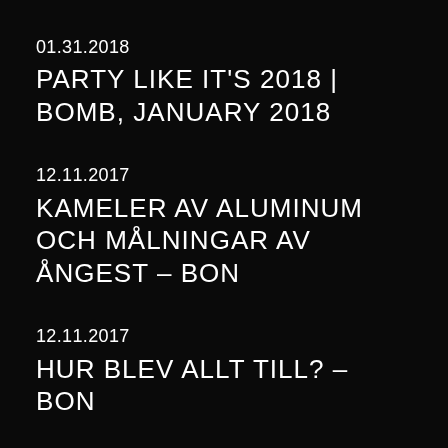01.31.2018
PARTY LIKE IT'S 2018 | BOMB, JANUARY 2018
12.11.2017
KAMELER AV ALUMINUM OCH MÅLNINGAR AV ÅNGEST – BON
12.11.2017
HUR BLEV ALLT TILL? – BON
11.25.2017
DEEP DIVE, ART AND VIRTUAL REALITY | ARTFORUM